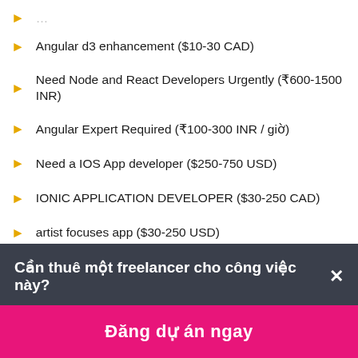Angular d3 enhancement ($10-30 CAD)
Need Node and React Developers Urgently (₹600-1500 INR)
Angular Expert Required (₹100-300 INR / giờ)
Need a IOS App developer ($250-750 USD)
IONIC APPLICATION DEVELOPER ($30-250 CAD)
artist focuses app ($30-250 USD)
Ionic grocery app (₹12500-37500 INR)
Mobile application like Blinkit (₹75000-150000 INR)
Cần thuê một freelancer cho công việc này? ×
Đăng dự án ngay